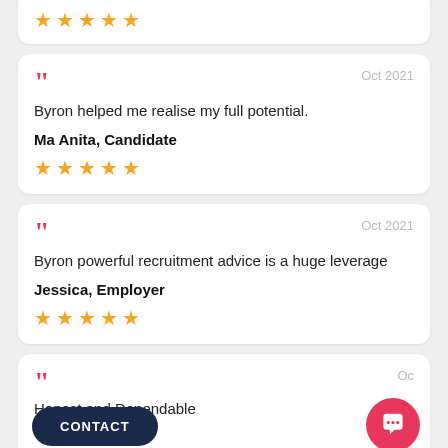★★★★★ (top card stars)
Byron helped me realise my full potential.
Ma Anita, Candidate
★★★★★
Byron powerful recruitment advice is a huge leverage
Jessica, Employer
★★★★★
Honest and Dependable
CONTACT